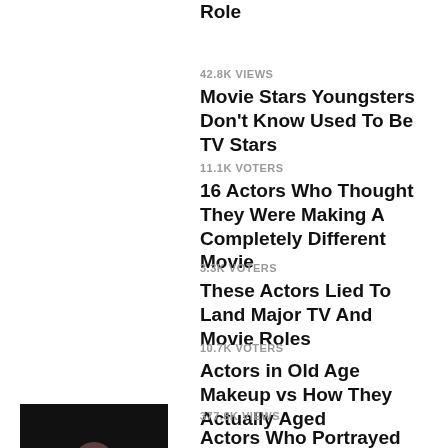Role
42.8K VIEWS
Movie Stars Youngsters Don't Know Used To Be TV Stars
11.1K VOTERS
16 Actors Who Thought They Were Making A Completely Different Movie
3.3K VOTERS
These Actors Lied To Land Major TV And Movie Roles
10.7K VOTERS
Actors in Old Age Makeup vs How They Actually Aged
377.8K VIEWS
Actors Who Portrayed Living People Describe How Hard It Was
[Figure (photo): Person with dark glasses and dark hair, movie-related portrait photo]